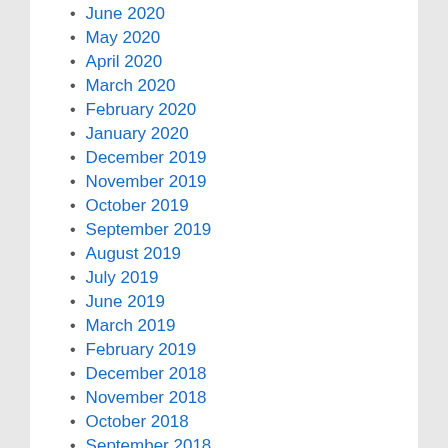June 2020
May 2020
April 2020
March 2020
February 2020
January 2020
December 2019
November 2019
October 2019
September 2019
August 2019
July 2019
June 2019
March 2019
February 2019
December 2018
November 2018
October 2018
September 2018
August 2018
July 2018
June 2018